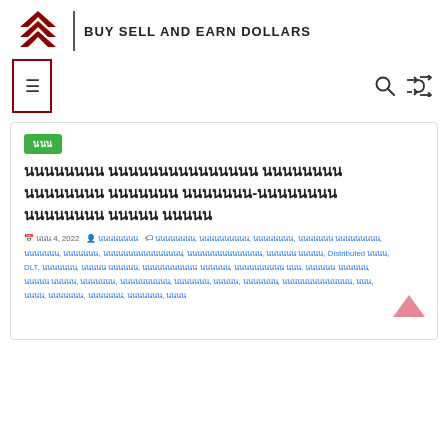[Figure (logo): Dark red/maroon layered diamond/chevron logo with vertical divider and text BUY SELL AND EARN DOLLARS]
[Figure (screenshot): Navigation box with hamburger/menu icon on left, search icon and shuffle icon on right]
นนน
นนนนนนนน นนนนนนนนนนนนนนน นนนนนนนน นนนนนนนน นนนนนนน นนนนนนนน-นนนนนนนน นนนนนนนน นนนนน นนนนน
นนน 4, 2022  นนนนนนนน  นนนนนนนน, นนนนนนนนนน, นนนนนนนน, นนนนนนน นนนนนนนนน, นนนนนนน, นนนนนนน, นนนนนนนนนนนนนนนน, นนนนนนนนนนนนนนน, นนนนนน นนนนน, Distributed นนนน, DLT, นนนนนนน, นนนนน นนนนนน, นนนนนนนนนนน นนนนนน, นนนนนนนนนน นนน, นนนนนน นนนนนน, นนนนน นนนนน, นนนนนนน, นนนนนนนนนน, นนนนนนน, นนนนน, นนนนนนน, นนนนนนนนนนนนนน, นนน, นนนน, นนนนนนน, นนนนนนน, นนนนนนน, นนนน